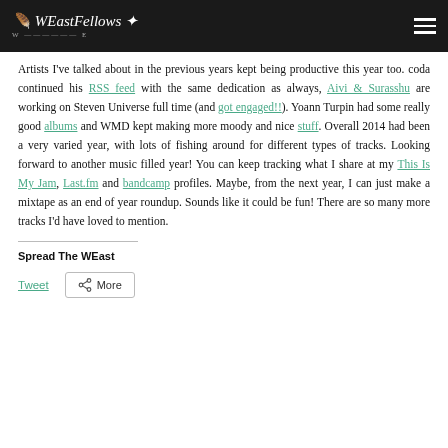WEastFellows
Artists I've talked about in the previous years kept being productive this year too. coda continued his RSS feed with the same dedication as always, Aivi & Surasshu are working on Steven Universe full time (and got engaged!!). Yoann Turpin had some really good albums and WMD kept making more moody and nice stuff. Overall 2014 had been a very varied year, with lots of fishing around for different types of tracks. Looking forward to another music filled year! You can keep tracking what I share at my This Is My Jam, Last.fm and bandcamp profiles. Maybe, from the next year, I can just make a mixtape as an end of year roundup. Sounds like it could be fun! There are so many more tracks I'd have loved to mention.
Spread The WEast
Tweet   More